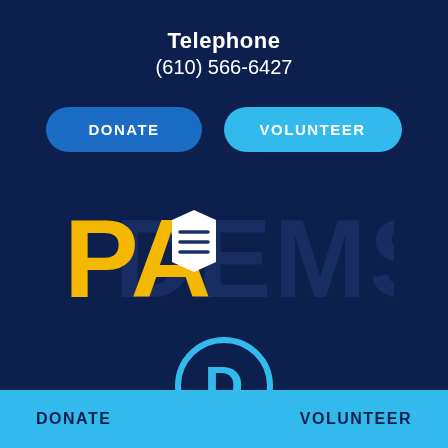Telephone
(610) 566-6427
DONATE
VOLUNTEER
[Figure (logo): PA Dems logo — 'PA' in gold/yellow bold letters with a keystone icon, 'DEMS' in dark navy watermark style large letters]
[Figure (logo): Democratic Party circular D logo in cyan/light blue outline on dark navy background]
DONATE   VOLUNTEER